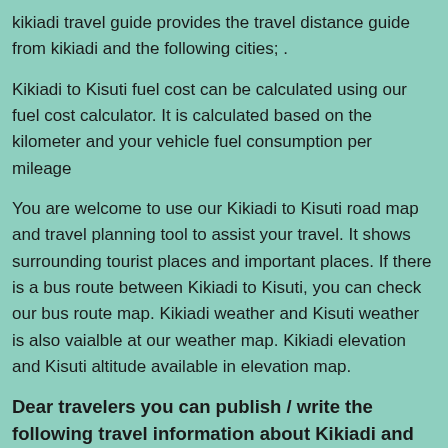kikiadi travel guide provides the travel distance guide from kikiadi and the following cities; .
Kikiadi to Kisuti fuel cost can be calculated using our fuel cost calculator. It is calculated based on the kilometer and your vehicle fuel consumption per mileage
You are welcome to use our Kikiadi to Kisuti road map and travel planning tool to assist your travel. It shows surrounding tourist places and important places. If there is a bus route between Kikiadi to Kisuti, you can check our bus route map. Kikiadi weather and Kisuti weather is also vaialble at our weather map. Kikiadi elevation and Kisuti altitude available in elevation map.
Dear travelers you can publish / write the following travel information about Kikiadi and Kisuti if it is applicable.
Past traveling experience from Kikiadi to Kisuti.
Different travel routes to reach Kisuti by road, train and air.